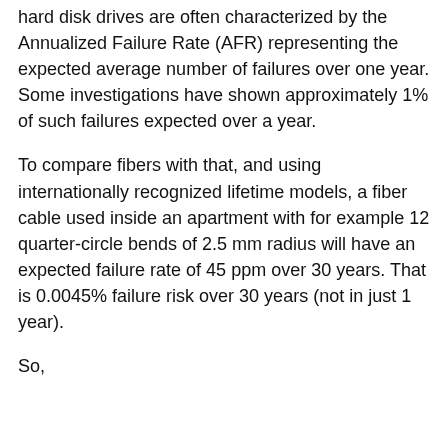hard disk drives are often characterized by the Annualized Failure Rate (AFR) representing the expected average number of failures over one year. Some investigations have shown approximately 1% of such failures expected over a year.
To compare fibers with that, and using internationally recognized lifetime models, a fiber cable used inside an apartment with for example 12 quarter-circle bends of 2.5 mm radius will have an expected failure rate of 45 ppm over 30 years. That is 0.0045% failure risk over 30 years (not in just 1 year).
So,